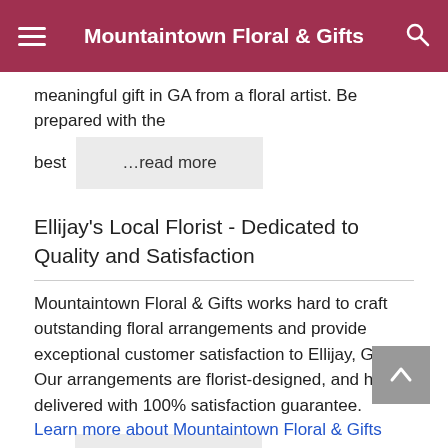Mountaintown Floral & Gifts
meaningful gift in GA from a floral artist. Be prepared with the best
…read more
Ellijay's Local Florist - Dedicated to Quality and Satisfaction
Mountaintown Floral & Gifts works hard to craft outstanding floral arrangements and provide exceptional customer satisfaction to Ellijay, GA. Our arrangements are florist-designed, and hand-delivered with 100% satisfaction guarantee.
Join …read more
Learn more about Mountaintown Floral & Gifts